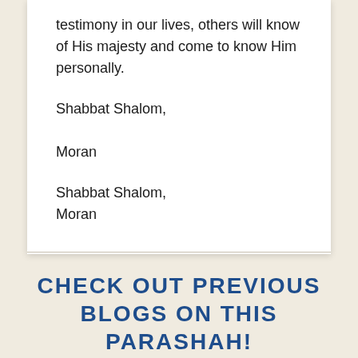testimony in our lives, others will know of His majesty and come to know Him personally.
Shabbat Shalom,

Moran
Shabbat Shalom,
Moran
CHECK OUT PREVIOUS BLOGS ON THIS PARASHAH!